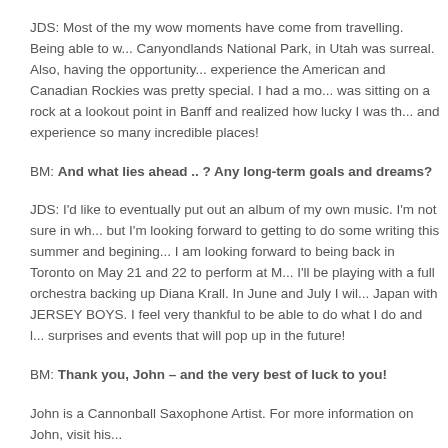JDS: Most of the my wow moments have come from travelling. Being able to w... Canyondlands National Park, in Utah was surreal. Also, having the opportunity... experience the American and Canadian Rockies was pretty special. I had a mo... was sitting on a rock at a lookout point in Banff and realized how lucky I was th... and experience so many incredible places!
BM: And what lies ahead .. ? Any long-term goals and dreams?
JDS: I'd like to eventually put out an album of my own music. I'm not sure in wh... but I'm looking forward to getting to do some writing this summer and begining... I am looking forward to being back in Toronto on May 21 and 22 to perform at M... I'll be playing with a full orchestra backing up Diana Krall. In June and July I wil... Japan with JERSEY BOYS. I feel very thankful to be able to do what I do and l... surprises and events that will pop up in the future!
BM: Thank you, John – and the very best of luck to you!
John is a Cannonball Saxophone Artist. For more information on John, visit his...